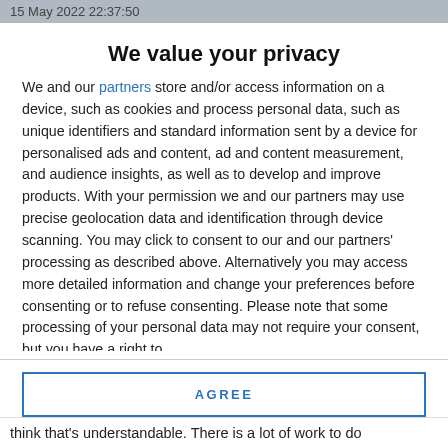15 May 2022 22:37:50
We value your privacy
We and our partners store and/or access information on a device, such as cookies and process personal data, such as unique identifiers and standard information sent by a device for personalised ads and content, ad and content measurement, and audience insights, as well as to develop and improve products. With your permission we and our partners may use precise geolocation data and identification through device scanning. You may click to consent to our and our partners' processing as described above. Alternatively you may access more detailed information and change your preferences before consenting or to refuse consenting. Please note that some processing of your personal data may not require your consent, but you have a right to
AGREE
MORE OPTIONS
think that's understandable. There is a lot of work to do